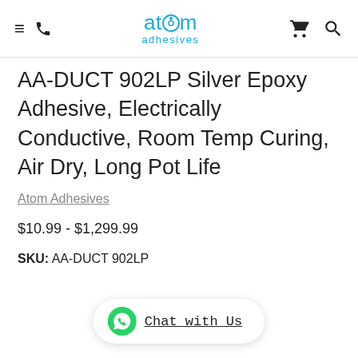atom adhesives
AA-DUCT 902LP Silver Epoxy Adhesive, Electrically Conductive, Room Temp Curing, Air Dry, Long Pot Life
Atom Adhesives
$10.99 - $1,299.99
SKU: AA-DUCT 902LP
Chat with Us